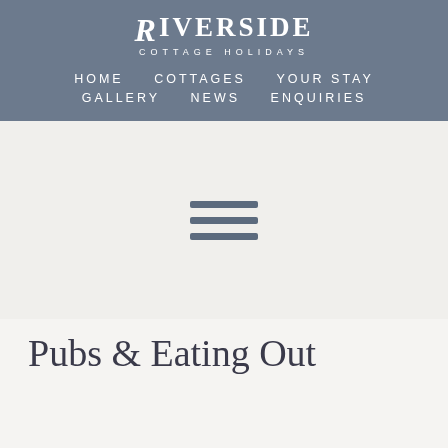[Figure (logo): Riverside Cottage Holidays logo with decorative R and subtitle text]
HOME   COTTAGES   YOUR STAY   GALLERY   NEWS   ENQUIRIES
[Figure (other): Hamburger menu icon (three horizontal bars)]
Pubs & Eating Out